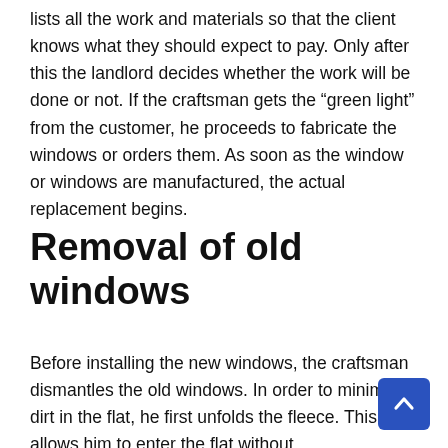lists all the work and materials so that the client knows what they should expect to pay. Only after this the landlord decides whether the work will be done or not. If the craftsman gets the “green light” from the customer, he proceeds to fabricate the windows or orders them. As soon as the window or windows are manufactured, the actual replacement begins.
Removal of old windows
Before installing the new windows, the craftsman dismantles the old windows. In order to minimise dirt in the flat, he first unfolds the fleece. This allows him to enter the flat without